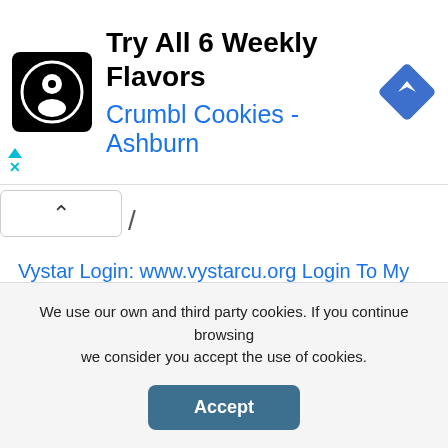[Figure (infographic): Advertisement banner for Crumbl Cookies - Ashburn. Shows a cookie mascot logo on black background, headline 'Try All 6 Weekly Flavors', subtitle 'Crumbl Cookies - Ashburn', and a blue navigation/directions diamond icon.]
Vystar Login: www.vystarcu.org Login To My Account
US Cellular Prepaid Login: www.uscellular/paynow
Access Myaccount.chryslercapital.com New Account: Chrysler Capital Login
My Free Spirit Points Card.com Activate &
We use our own and third party cookies. If you continue browsing we consider you accept the use of cookies.